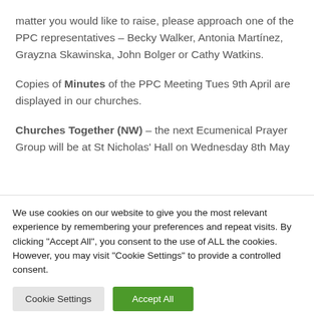matter you would like to raise, please approach one of the PPC representatives – Becky Walker, Antonia Martínez, Grayzna Skawinska, John Bolger or Cathy Watkins.
Copies of Minutes of the PPC Meeting Tues 9th April are displayed in our churches.
Churches Together (NW) – the next Ecumenical Prayer Group will be at St Nicholas' Hall on Wednesday 8th May
We use cookies on our website to give you the most relevant experience by remembering your preferences and repeat visits. By clicking "Accept All", you consent to the use of ALL the cookies. However, you may visit "Cookie Settings" to provide a controlled consent.